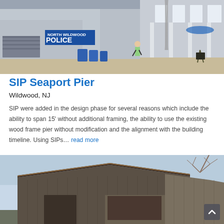[Figure (photo): Street-level photo of a building with 'North Wildwood Police' signage, a woman running in front, blue garbage bins, and a multi-story commercial building with blue-trimmed windows in the background.]
SIP Seaport Pier
Wildwood, NJ
SIP were added in the design phase for several reasons which include the ability to span 15' without additional framing, the ability to use the existing wood frame pier without modification and the alignment with the building timeline. Using SIPs… read more
[Figure (photo): Exterior photo of a modern industrial or commercial building with dark metal cladding and a shed roof, against a light blue sky with bare tree branches visible at top right.]